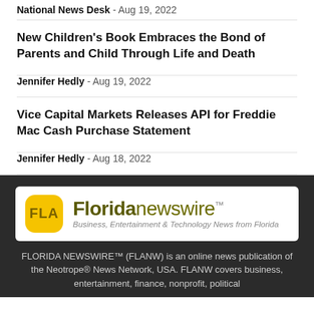National News Desk - Aug 19, 2022
New Children's Book Embraces the Bond of Parents and Child Through Life and Death
Jennifer Hedly - Aug 19, 2022
Vice Capital Markets Releases API for Freddie Mac Cash Purchase Statement
Jennifer Hedly - Aug 18, 2022
[Figure (logo): Florida Newswire logo with FLA badge and tagline: Business, Entertainment & Technology News from Florida]
FLORIDA NEWSWIRE™ (FLANW) is an online news publication of the Neotrope® News Network, USA. FLANW covers business, entertainment, finance, nonprofit, political